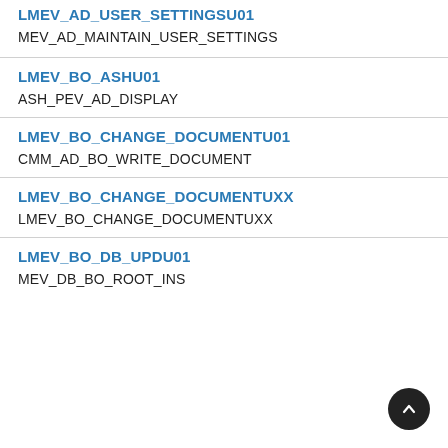LMEV_AD_USER_SETTINGSU01
MEV_AD_MAINTAIN_USER_SETTINGS
LMEV_BO_ASHU01
ASH_PEV_AD_DISPLAY
LMEV_BO_CHANGE_DOCUMENTU01
CMM_AD_BO_WRITE_DOCUMENT
LMEV_BO_CHANGE_DOCUMENTUXX
LMEV_BO_CHANGE_DOCUMENTUXX
LMEV_BO_DB_UPDU01
MEV_DB_BO_ROOT_INS